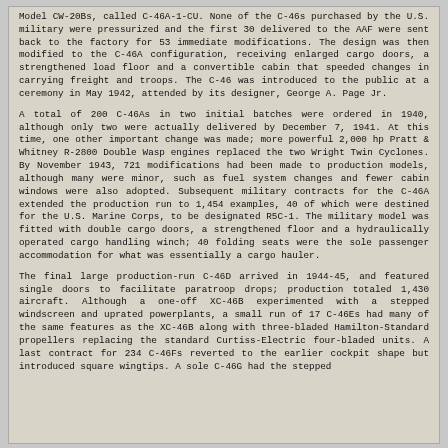Model CW-20Bs, called C-46A-1-CU. None of the C-46s purchased by the U.S. military were pressurized and the first 30 delivered to the AAF were sent back to the factory for 53 immediate modifications. The design was then modified to the C-46A configuration, receiving enlarged cargo doors, a strengthened load floor and a convertible cabin that speeded changes in carrying freight and troops. The C-46 was introduced to the public at a ceremony in May 1942, attended by its designer, George A. Page Jr.
A total of 200 C-46As in two initial batches were ordered in 1940, although only two were actually delivered by December 7, 1941. At this time, one other important change was made; more powerful 2,000 hp Pratt & Whitney R-2800 Double Wasp engines replaced the two Wright Twin Cyclones. By November 1943, 721 modifications had been made to production models, although many were minor, such as fuel system changes and fewer cabin windows were also adopted. Subsequent military contracts for the C-46A extended the production run to 1,454 examples, 40 of which were destined for the U.S. Marine Corps, to be designated R5C-1. The military model was fitted with double cargo doors, a strengthened floor and a hydraulically operated cargo handling winch; 40 folding seats were the sole passenger accommodation for what was essentially a cargo hauler.
The final large production-run C-46D arrived in 1944-45, and featured single doors to facilitate paratroop drops; production totaled 1,430 aircraft. Although a one-off XC-46B experimented with a stepped windscreen and uprated powerplants, a small run of 17 C-46Es had many of the same features as the XC-46B along with three-bladed Hamilton-Standard propellers replacing the standard Curtiss-Electric four-bladed units. A last contract for 234 C-46Fs reverted to the earlier cockpit shape but introduced square wingtips. A sole C-46G had the stepped